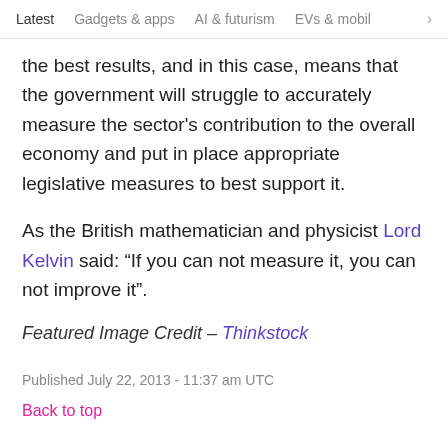Latest   Gadgets & apps   AI & futurism   EVs & mobil  >
the best results, and in this case, means that the government will struggle to accurately measure the sector's contribution to the overall economy and put in place appropriate legislative measures to best support it.
As the British mathematician and physicist Lord Kelvin said: “If you can not measure it, you can not improve it”.
Featured Image Credit – Thinkstock
Published July 22, 2013 - 11:37 am UTC
Back to top